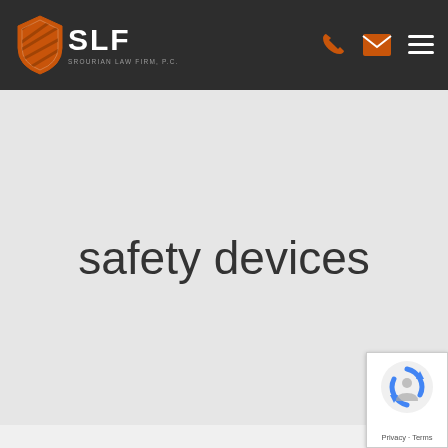[Figure (logo): SLF Srourian Law Firm P.C. logo with orange shield icon and white SLF text on dark background header]
safety devices
[Figure (other): Google reCAPTCHA badge in bottom right corner with Privacy and Terms text]